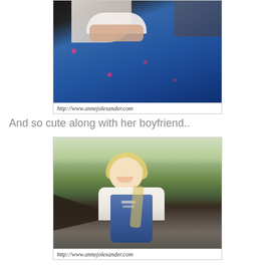[Figure (photo): Close-up photo of a couple in Norwegian traditional bunad costume. A blue embroidered bunad skirt is visible with the couple's hands clasped together. Watermark at bottom reads http://www.annejolexander.com]
And so cute along with her boyfriend..
[Figure (photo): Photo of a young blonde woman smiling, wearing a Norwegian bunad (traditional costume) with a white blouse and blue embroidered vest, standing outdoors with a rustic wooden building and foliage in background. Watermark at bottom reads http://www.annejolexander.com]